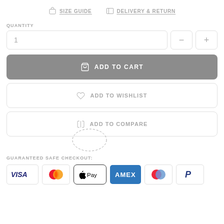SIZE GUIDE   DELIVERY & RETURN
QUANTITY
1
ADD TO CART
ADD TO WISHLIST
ADD TO COMPARE
GUARANTEED SAFE CHECKOUT:
[Figure (infographic): Payment method icons: VISA, Mastercard, Apple Pay, AMEX, Klarna/Mastercard, PayPal]